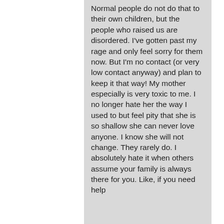Normal people do not do that to their own children, but the people who raised us are disordered. I've gotten past my rage and only feel sorry for them now. But I'm no contact (or very low contact anyway) and plan to keep it that way! My mother especially is very toxic to me. I no longer hate her the way I used to but feel pity that she is so shallow she can never love anyone. I know she will not change. They rarely do. I absolutely hate it when others assume your family is always there for you. Like, if you need help